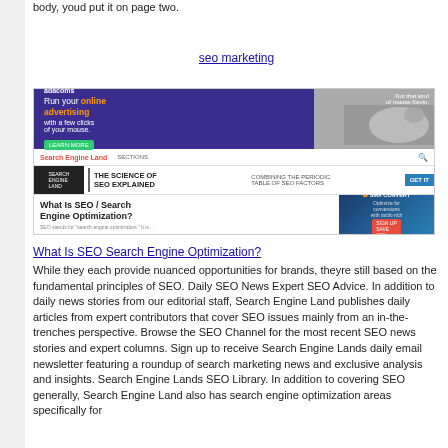body, youd put it on page two.
seo marketing
[Figure (screenshot): Screenshot of Search Engine Land website showing an Adacoms online advertising banner with a cat image, navigation bar, 'The Science of SEO Explained' banner, and 'What Is SEO / Search Engine Optimization?' article heading with SMX Convert advertisement]
What Is SEO Search Engine Optimization?
While they each provide nuanced opportunities for brands, theyre still based on the fundamental principles of SEO. Daily SEO News Expert SEO Advice. In addition to daily news stories from our editorial staff, Search Engine Land publishes daily articles from expert contributors that cover SEO issues mainly from an in-the-trenches perspective. Browse the SEO Channel for the most recent SEO news stories and expert columns. Sign up to receive Search Engine Lands daily email newsletter featuring a roundup of search marketing news and exclusive analysis and insights. Search Engine Lands SEO Library. In addition to covering SEO generally, Search Engine Land also has search engine optimization areas specifically for